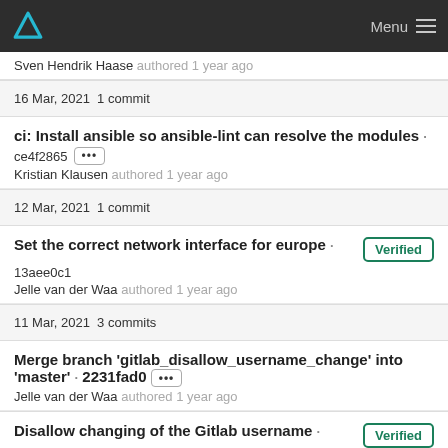Menu
Sven Hendrik Haase authored 1 year ago
16 Mar, 2021 1 commit
ci: Install ansible so ansible-lint can resolve the modules
ce4f2865 ··· Kristian Klausen authored 1 year ago
12 Mar, 2021 1 commit
Set the correct network interface for europe
13aee0c1 Jelle van der Waa authored 1 year ago
11 Mar, 2021 3 commits
Merge branch 'gitlab_disallow_username_change' into 'master'
2231fad0 ··· Jelle van der Waa authored 1 year ago
Disallow changing of the Gitlab username